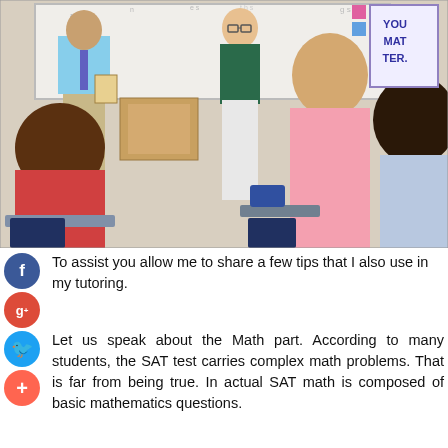[Figure (photo): Classroom scene with a teacher standing near the whiteboard holding a book, a student standing and presenting, and several students seated at desks facing the front. A 'YOU MATTER' poster is on the wall in the top right.]
To assist you allow me to share a few tips that I also use in my tutoring.
Let us speak about the Math part. According to many students, the SAT test carries complex math problems. That is far from being true. In actual SAT math is composed of basic mathematics questions.